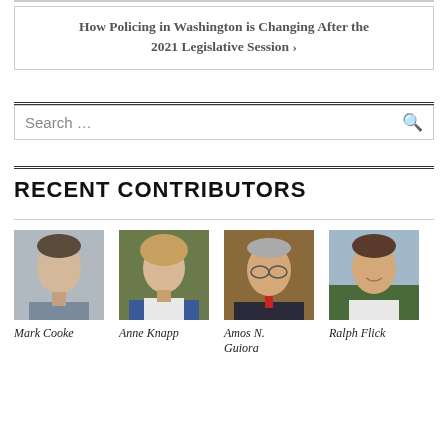How Policing in Washington is Changing After the 2021 Legislative Session ›
RECENT CONTRIBUTORS
[Figure (photo): Headshot photo of Mark Cooke]
Mark Cooke
[Figure (photo): Headshot photo of Anne Knapp]
Anne Knapp
[Figure (photo): Headshot photo of Amos N. Guiora]
Amos N. Guiora
[Figure (photo): Headshot photo of Ralph Flick]
Ralph Flick